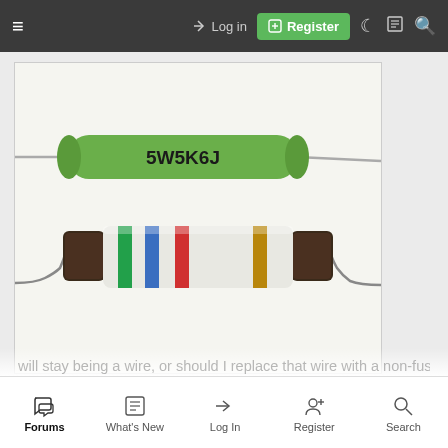≡  → Log in  [+] Register
[Figure (photo): Two resistors on a white background. Top resistor is green cylindrical with text '5W5K6J'. Bottom resistor is larger with color bands: green, blue, red, gold/brown, on a white/grey body with burnt/damaged ends.]
Things to do:
-Put a new fusible resistor once I can get one, pretty hard to get, only could find them at arcadepartsandrepair but I have to order more stuff to make the shipment worth it lol. So meanwhile, R570 will stay being a wire, or should I replace that wire with a non-fusible
Forums  What's New  Log In  Register  Search